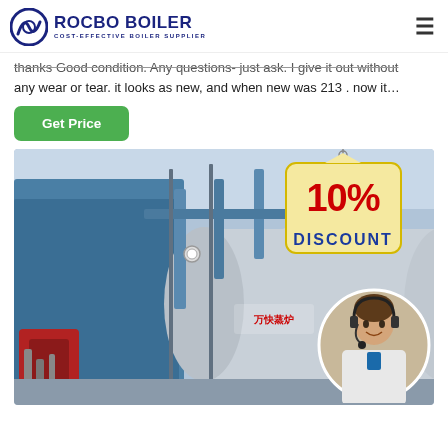ROCBO BOILER - COST-EFFECTIVE BOILER SUPPLIER
thanks Good condition. Any questions- just ask. I give it out without any wear or tear. it looks as new, and when new was 213 . now it...
Get Price
[Figure (photo): Industrial boiler equipment in a factory setting, with a 10% DISCOUNT badge overlay and a customer service representative photo in the bottom right corner.]